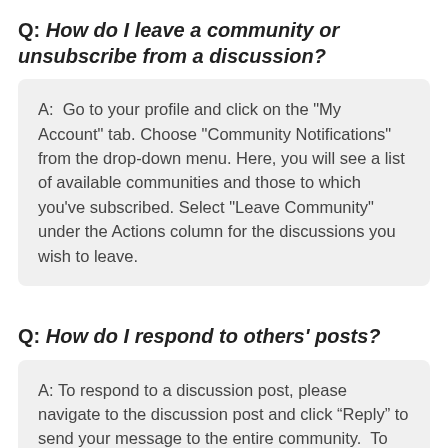Q: How do I leave a community or unsubscribe from a discussion?
A:  Go to your profile and click on the "My Account" tab. Choose "Community Notifications" from the drop-down menu. Here, you will see a list of available communities and those to which you've subscribed. Select "Leave Community" under the Actions column for the discussions you wish to leave.
Q: How do I respond to others' posts?
A: To respond to a discussion post, please navigate to the discussion post and click “Reply” to send your message to the entire community.  To send a message to the only author of the post, please select “Reply Privately” (located